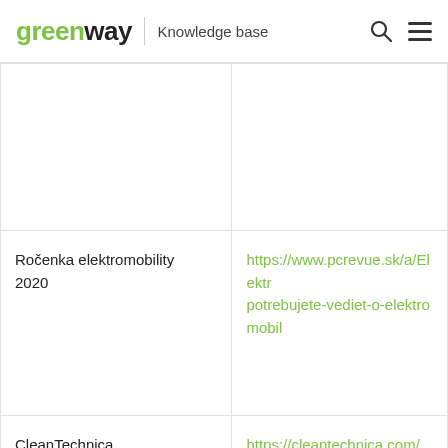greenway Knowledge base
|  |  |
| Ročenka elektromobility 2020 | https://www.pcrevue.sk/a/Elektr... potrebujete-vediet-o-elektromobil... |
| CleanTechnica | https://cleantechnica.com/ |